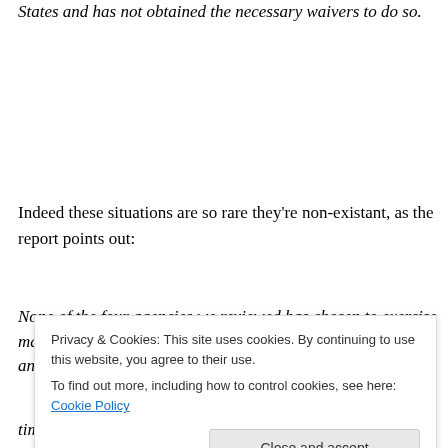States and has not obtained the necessary waivers to do so.
Indeed these situations are so rare they're non-existant, as the report points out:
None of the four agencies we reviewed has chosen to exercise march-in authority under the Bayh-Dole Act. DOD, DOE, and NASA have neither discovered nor
Privacy & Cookies: This site uses cookies. By continuing to use this website, you agree to their use. To find out more, including how to control cookies, see here: Cookie Policy
times, but in each case determined that the statutory